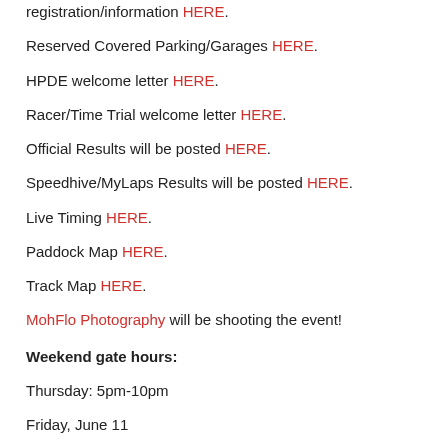registration/information HERE.
Reserved Covered Parking/Garages HERE.
HPDE welcome letter HERE.
Racer/Time Trial welcome letter HERE.
Official Results will be posted HERE.
Speedhive/MyLaps Results will be posted HERE.
Live Timing HERE.
Paddock Map HERE.
Track Map HERE.
MohFlo Photography will be shooting the event!
Weekend gate hours:
Thursday: 5pm-10pm
Friday, June 11